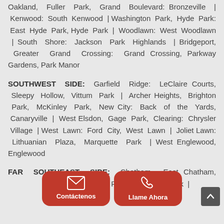Oakland, Fuller Park, Grand Boulevard: Bronzeville | Kenwood: South Kenwood | Washington Park, Hyde Park: East Hyde Park, Hyde Park | Woodlawn: West Woodlawn | South Shore: Jackson Park Highlands | Bridgeport, Greater Grand Crossing: Grand Crossing, Parkway Gardens, Park Manor
SOUTHWEST SIDE: Garfield Ridge: LeClaire Courts, Sleepy Hollow, Vittum Park | Archer Heights, Brighton Park, McKinley Park, New City: Back of the Yards, Canaryville | West Elsdon, Gage Park, Clearing: Chrysler Village | West Lawn: Ford City, West Lawn | Joliet Lawn: Lithuanian Plaza, Marquette Park | West Englewood, Englewood
FAR SOUTHEAST SIDE: Chatham, East Chatham, [partially obscured] ...terfield | Avalon P... ...d Park |